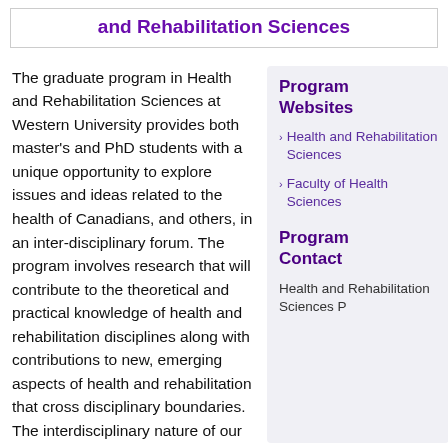and Rehabilitation Sciences
The graduate program in Health and Rehabilitation Sciences at Western University provides both master's and PhD students with a unique opportunity to explore issues and ideas related to the health of Canadians, and others, in an inter-disciplinary forum. The program involves research that will contribute to the theoretical and practical knowledge of health and rehabilitation disciplines along with contributions to new, emerging aspects of health and rehabilitation that cross disciplinary boundaries. The interdisciplinary nature of our
Program Websites
Health and Rehabilitation Sciences
Faculty of Health Sciences
Program Contact
Health and Rehabilitation Sciences P...